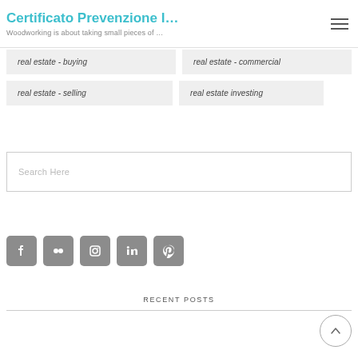Certificato Prevenzione I… | Woodworking is about taking small pieces of …
real estate - buying
real estate - commercial
real estate - selling
real estate investing
Search Here
[Figure (infographic): Social media icon buttons: Facebook, Flickr, Instagram, LinkedIn, Pinterest — grey rounded square icons]
RECENT POSTS